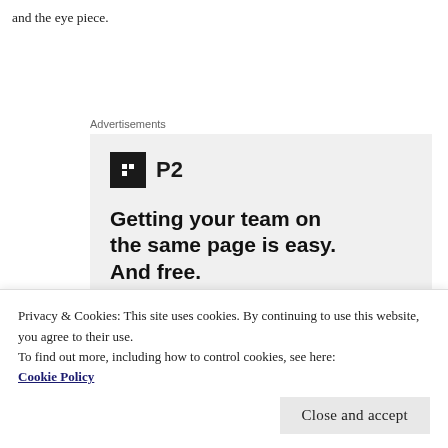and the eye piece.
Advertisements
[Figure (screenshot): Advertisement for P2 product showing logo with black square icon and 'P2' text, headline reading 'Getting your team on the same page is easy. And free.' with circular avatar photos below on a light grey background.]
Privacy & Cookies: This site uses cookies. By continuing to use this website, you agree to their use.
To find out more, including how to control cookies, see here: Cookie Policy
Close and accept